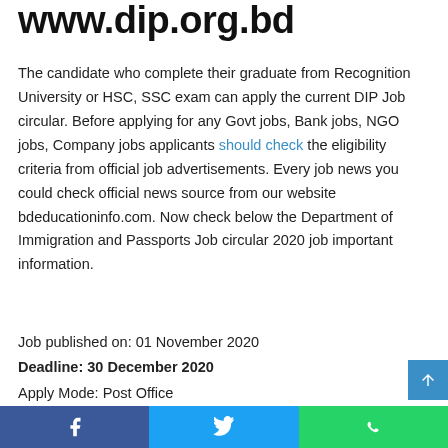www.dip.org.bd
The candidate who complete their graduate from Recognition University or HSC, SSC exam can apply the current DIP Job circular. Before applying for any Govt jobs, Bank jobs, NGO jobs, Company jobs applicants should check the eligibility criteria from official job advertisements. Every job news you could check official news source from our website bdeducationinfo.com. Now check below the Department of Immigration and Passports Job circular 2020 job important information.
Job published on: 01 November 2020
Deadline: 30 December 2020
Apply Mode: Post Office
Total Vacancy: 01